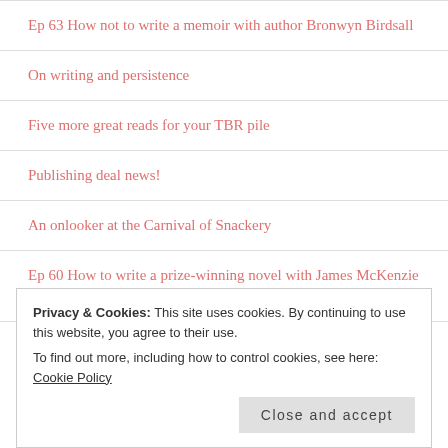Ep 63 How not to write a memoir with author Bronwyn Birdsall
On writing and persistence
Five more great reads for your TBR pile
Publishing deal news!
An onlooker at the Carnival of Snackery
Ep 60 How to write a prize-winning novel with James McKenzie Watson, author of Denizen
Join me for these upcoming events!
Privacy & Cookies: This site uses cookies. By continuing to use this website, you agree to their use. To find out more, including how to control cookies, see here: Cookie Policy